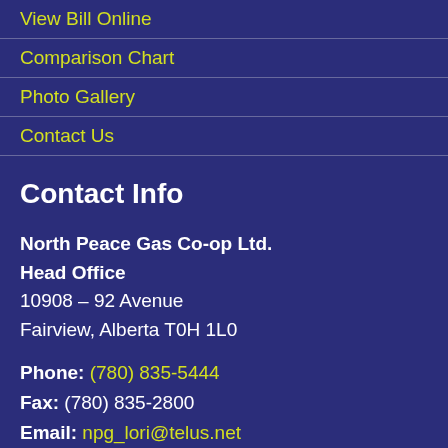View Bill Online
Comparison Chart
Photo Gallery
Contact Us
Contact Info
North Peace Gas Co-op Ltd.
Head Office
10908 – 92 Avenue
Fairview, Alberta T0H 1L0
Phone: (780) 835-5444
Fax: (780) 835-2800
Email: npg_lori@telus.net